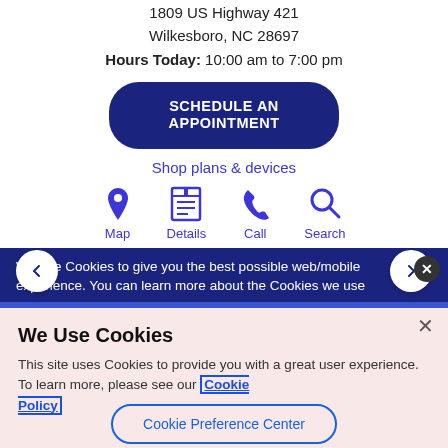1809 US Highway 421
Wilkesboro, NC 28697
Hours Today: 10:00 am to 7:00 pm
SCHEDULE AN APPOINTMENT
Shop plans & devices
[Figure (infographic): Four icons with labels: Map (pin icon), Details (document icon), Call (phone icon), Search (magnifying glass icon)]
We use Cookies to give you the best possible web/mobile experience. You can learn more about the Cookies we use why we use them and can manage your preferences through accessing the following policy
We Use Cookies
This site uses Cookies to provide you with a great user experience. To learn more, please see our Cookie Policy
Cookie Preference Center